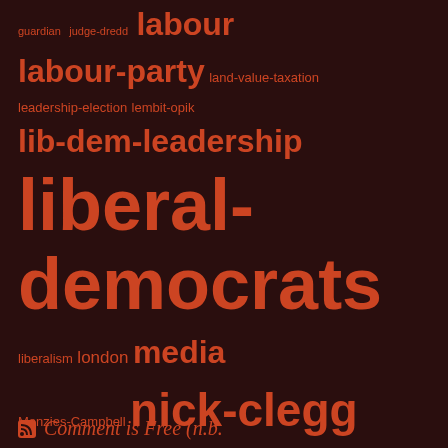guardian judge-dredd labour labour-party land-value-taxation leadership-election lembit-opik lib-dem-leadership liberal-democrats liberalism london media Menzies-Campbell nick-clegg panics parliament policy politics religion science scotland Simon-Hughes swivel-eyed-loons tax television the-left
Comment is Free (n.b.